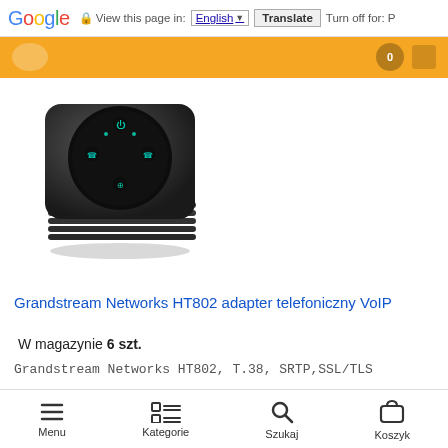Google | View this page in: English | Translate | Turn off for: P
[Figure (photo): Grandstream HT802 VoIP telephone adapter, black square device with circular top panel featuring teal LED indicators]
Grandstream Networks HT802 adapter telefoniczny VoIP
W magazynie 6 szt.
Grandstream Networks HT802, T.38, SRTP,SSL/TLS
Menu | Kategorie | Szukaj | Koszyk